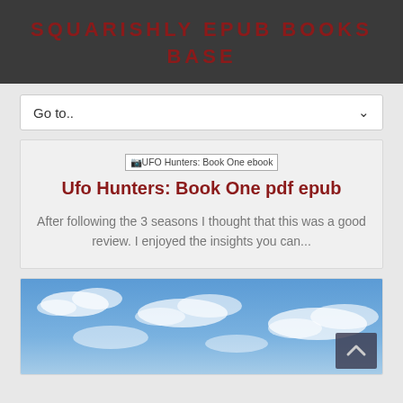SQUARISHLY EPUB BOOKS BASE
Go to..
[Figure (screenshot): Broken image placeholder with alt text: UFO Hunters: Book One ebook]
Ufo Hunters: Book One pdf epub
After following the 3 seasons I thought that this was a good review. I enjoyed the insights you can...
[Figure (photo): A photograph of a blue sky with white clouds]